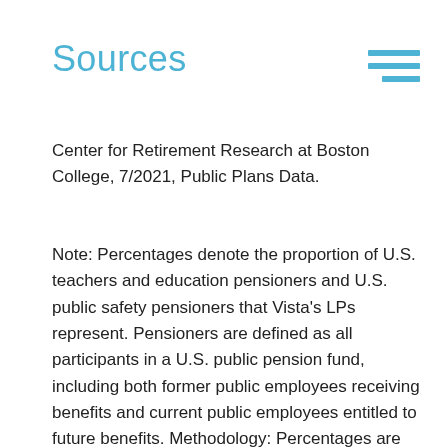Sources
Center for Retirement Research at Boston College, 7/2021, Public Plans Data.
Note: Percentages denote the proportion of U.S. teachers and education pensioners and U.S. public safety pensioners that Vista's LPs represent. Pensioners are defined as all participants in a U.S. public pension fund, including both former public employees receiving benefits and current public employees entitled to future benefits. Methodology: Percentages are calculated by pulling data on U.S. public pension plans and